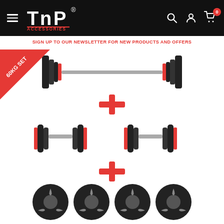TnP Accessories navigation bar with hamburger menu, logo, search, account, and cart icons
SIGN UP TO OUR NEWSLETTER FOR NEW PRODUCTS AND OFFERS
[Figure (photo): 60KG SET barbell weight set with red corner badge, plus sign, dumbbell pair, plus sign, and four weight plates stacked below]
60KG SET